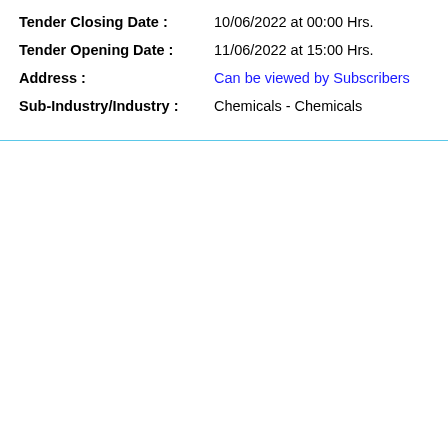Tender Closing Date : 10/06/2022 at 00:00 Hrs.
Tender Opening Date : 11/06/2022 at 15:00 Hrs.
Address : Can be viewed by Subscribers
Sub-Industry/Industry : Chemicals - Chemicals